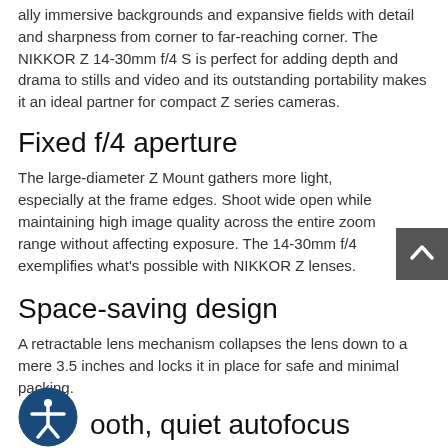ally immersive backgrounds and expansive fields with detail and sharpness from corner to far-reaching corner. The NIKKOR Z 14-30mm f/4 S is perfect for adding depth and drama to stills and video and its outstanding portability makes it an ideal partner for compact Z series cameras.
Fixed f/4 aperture
The large-diameter Z Mount gathers more light, especially at the frame edges. Shoot wide open while maintaining high image quality across the entire zoom range without affecting exposure. The 14-30mm f/4 exemplifies what's possible with NIKKOR Z lenses.
Space-saving design
A retractable lens mechanism collapses the lens down to a mere 3.5 inches and locks it in place for safe and minimal packing.
Smooth, quiet autofocus
Nikon's Stepping Motor (STM) provides smooth, fast and quiet